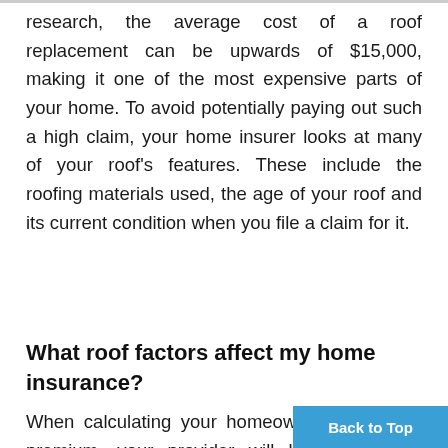research, the average cost of a roof replacement can be upwards of $15,000, making it one of the most expensive parts of your home. To avoid potentially paying out such a high claim, your home insurer looks at many of your roof's features. These include the roofing materials used, the age of your roof and its current condition when you file a claim for it.
What roof factors affect my home insurance?
When calculating your homeowners insurance premium, your provider will look at certain details of your roof. T